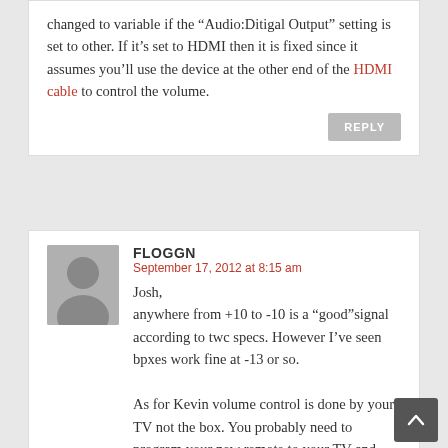changed to variable if the “Audio:Ditigal Output” setting is set to other. If it’s set to HDMI then it is fixed since it assumes you’ll use the device at the other end of the HDMI cable to control the volume.
REPLY
FLOGGN
September 17, 2012 at 8:15 am
Josh, anywhere from +10 to -10 is a “good”signal according to twc specs. However I’ve seen bpxes work fine at -13 or so.

As for Kevin volume control is done by your TV not the box. You probably need to program your new remote to your TV and